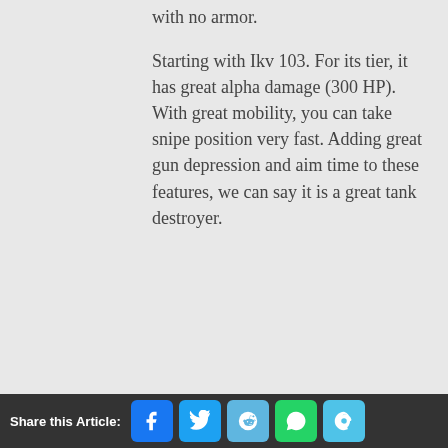with no armor.
Starting with Ikv 103. For its tier, it has great alpha damage (300 HP). With great mobility, you can take snipe position very fast. Adding great gun depression and aim time to these features, we can say it is a great tank destroyer.
Share this Article: